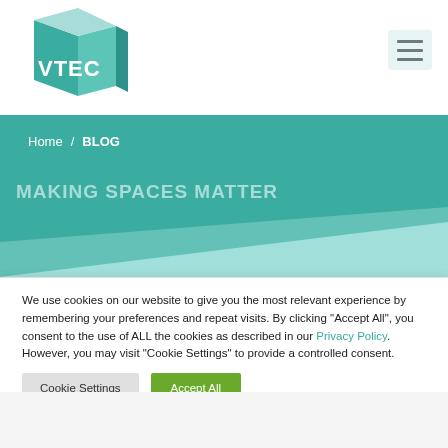[Figure (logo): VTEC logo — teal geometric book/building shape with white 'VTEC' text]
[Figure (other): Hamburger menu icon (three horizontal lines) in a light teal rounded rectangle]
Home / BLOG
MAKING SPACES MATTER
[Figure (illustration): Teal hero banner with light teal diagonal geometric shape]
We use cookies on our website to give you the most relevant experience by remembering your preferences and repeat visits. By clicking "Accept All", you consent to the use of ALL the cookies as described in our Privacy Policy. However, you may visit "Cookie Settings" to provide a controlled consent.
Cookie Settings | Accept All